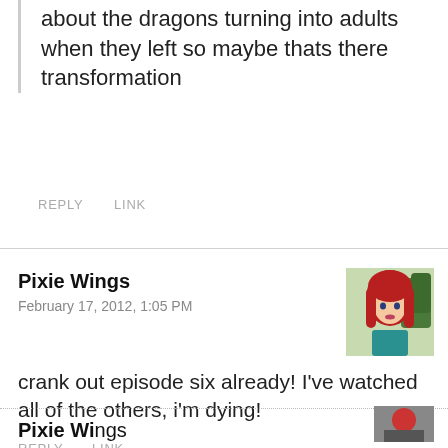about the dragons turning into adults when they left so maybe thats there transformation
REPLY   LINK
Pixie Wings
February 17, 2012, 1:05 PM
crank out episode six already! I've watched all of the others, i'm dying!
REPLY   LINK
Pixie Wi...